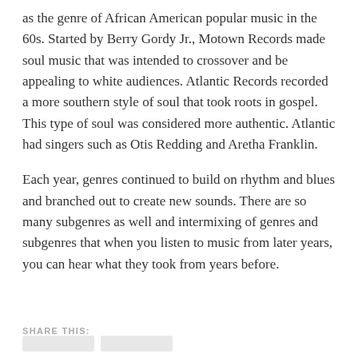as the genre of African American popular music in the 60s. Started by Berry Gordy Jr., Motown Records made soul music that was intended to crossover and be appealing to white audiences. Atlantic Records recorded a more southern style of soul that took roots in gospel. This type of soul was considered more authentic. Atlantic had singers such as Otis Redding and Aretha Franklin.
Each year, genres continued to build on rhythm and blues and branched out to create new sounds. There are so many subgenres as well and intermixing of genres and subgenres that when you listen to music from later years, you can hear what they took from years before.
SHARE THIS: